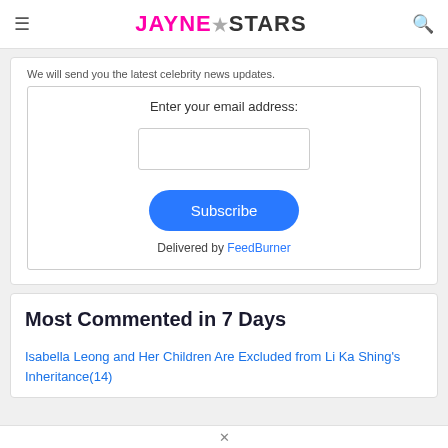JAYNE★STARS
We will send you the latest celebrity news updates.
Enter your email address:
Subscribe
Delivered by FeedBurner
Most Commented in 7 Days
Isabella Leong and Her Children Are Excluded from Li Ka Shing's Inheritance(14)